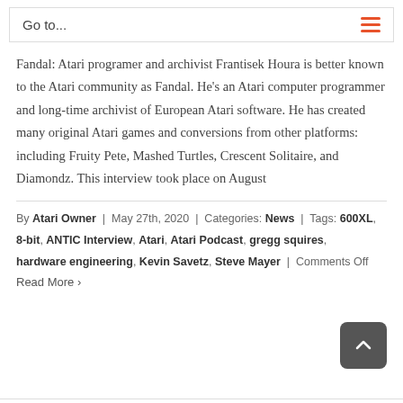Go to...
Fandal: Atari programer and archivist Frantisek Houra is better known to the Atari community as Fandal. He's an Atari computer programmer and long-time archivist of European Atari software. He has created many original Atari games and conversions from other platforms: including Fruity Pete, Mashed Turtles, Crescent Solitaire, and Diamondz. This interview took place on August
By Atari Owner | May 27th, 2020 | Categories: News | Tags: 600XL, 8-bit, ANTIC Interview, Atari, Atari Podcast, gregg squires, hardware engineering, Kevin Savetz, Steve Mayer | Comments Off
Read More >